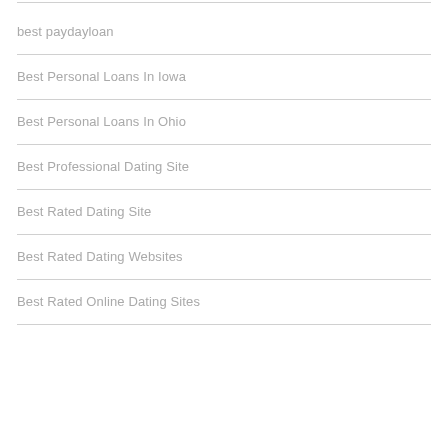best paydayloan
Best Personal Loans In Iowa
Best Personal Loans In Ohio
Best Professional Dating Site
Best Rated Dating Site
Best Rated Dating Websites
Best Rated Online Dating Sites